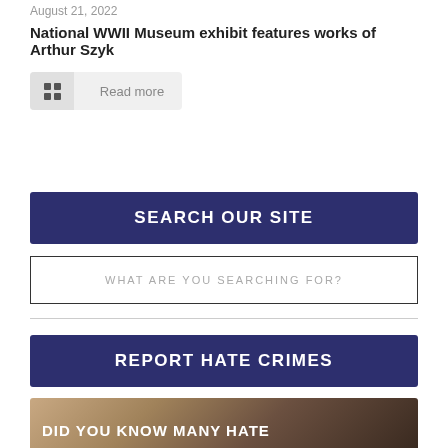August 21, 2022
National WWII Museum exhibit features works of Arthur Szyk
[Figure (other): Read more button with grid icon]
SEARCH OUR SITE
WHAT ARE YOU SEARCHING FOR?
REPORT HATE CRIMES
[Figure (photo): Photo of a person with text overlay reading DID YOU KNOW MANY HATE]